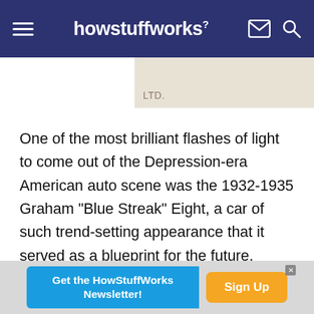howstuffworks
[Figure (screenshot): Partial view of an image with beige/tan background showing text 'LTD.']
One of the most brilliant flashes of light to come out of the Depression-era American auto scene was the 1932-1935 Graham "Blue Streak" Eight, a car of such trend-setting appearance that it served as a blueprint for the future, sending rival automakers into overtime, scrambling to catch up. Here is an introduction to the 1932, 1933, 1934, 1935 Graham Blue Streak.
[Figure (infographic): Advertisement banner: 'Get the HowStuffWorks Newsletter!' with a 'Sign Up' button in orange]